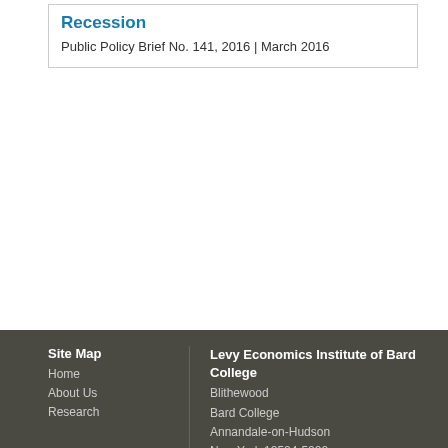Recession
Public Policy Brief No. 141, 2016 | March 2016
Site Map
Home
About Us
Research

Levy Economics Institute of Bard College
Blithewood
Bard College
Annandale-on-Hudson
New York 12504-5000